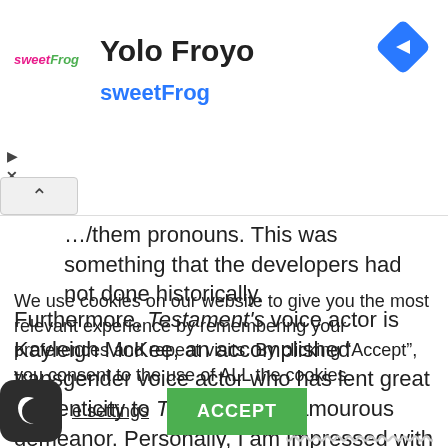[Figure (screenshot): Ad banner for sweetFrog Yolo Froyo with logo, title, subtitle, navigation arrow diamond icon, and play/close controls]
…/them pronouns. This was something that the developers had not done historically.
Furthermore, Testament's voice actor is Kayleigh McKee, an accomplished transgender voice actor who has lent great authenticity to Testament's glamourous demeanor. Personally, I am impressed with this seamless LGBTQ
We use cookies on our website to give you the most relevant experience by remembering your preferences and repeat visits. By clicking "Accept", you consent to the use of ALL the cookies.
settings   ACCEPT